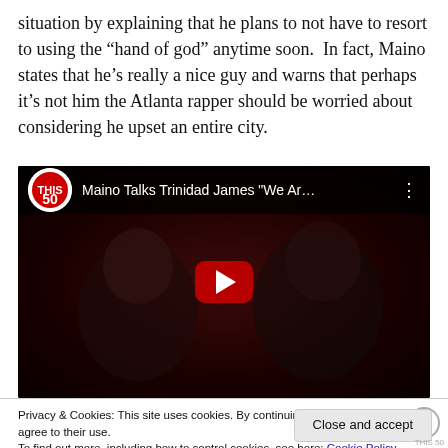situation by explaining that he plans to not have to resort to using the “hand of god” anytime soon.  In fact, Maino states that he’s really a nice guy and warns that perhaps it’s not him the Atlanta rapper should be worried about considering he upset an entire city.
[Figure (screenshot): Embedded YouTube video thumbnail showing two men in a dark setting, with the title 'Maino Talks Trinidad James "We Ar...' and a play button overlay.]
Privacy & Cookies: This site uses cookies. By continuing to use this website, you agree to their use. To find out more, including how to control cookies, see here: Cookie Policy